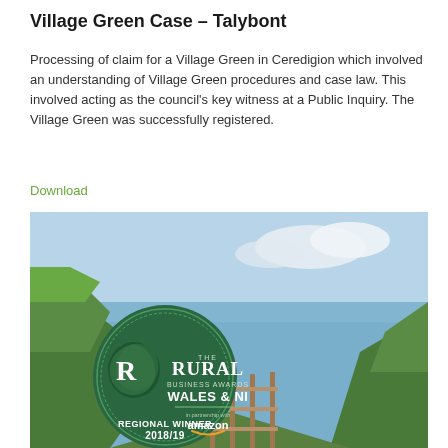Village Green Case – Talybont
Processing of claim for a Village Green in Ceredigion which involved an understanding of Village Green procedures and case law. This involved acting as the council's key witness at a Public Inquiry. The Village Green was successfully registered.
Download
[Figure (photo): Coastal Welsh landscape with green cliff, wooden staircase leading to sea, overlaid with a circular green badge: 'The Rural Business Awards Wales & NI – amazon – Regional Winner 2018/19']